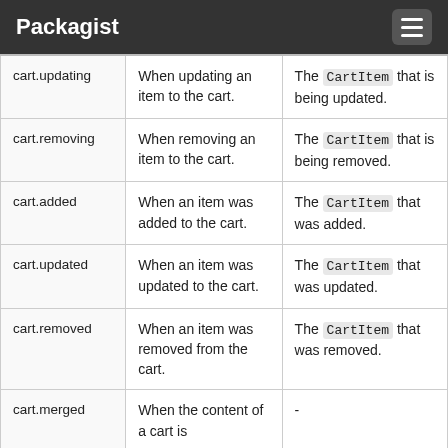Packagist
| Event | Description | Payload |
| --- | --- | --- |
| cart.updating | When updating an item to the cart. | The CartItem that is being updated. |
| cart.removing | When removing an item to the cart. | The CartItem that is being removed. |
| cart.added | When an item was added to the cart. | The CartItem that was added. |
| cart.updated | When an item was updated to the cart. | The CartItem that was updated. |
| cart.removed | When an item was removed from the cart. | The CartItem that was removed. |
| cart.merged | When the content of a cart is | - |